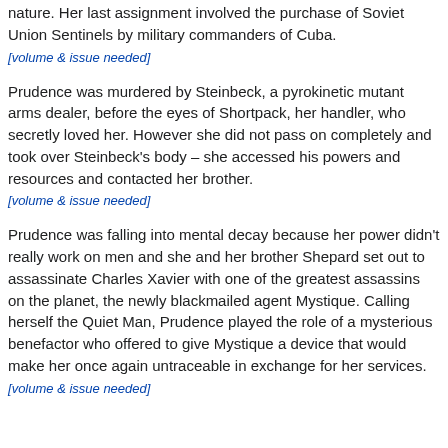nature. Her last assignment involved the purchase of Soviet Union Sentinels by military commanders of Cuba.
[volume & issue needed]
Prudence was murdered by Steinbeck, a pyrokinetic mutant arms dealer, before the eyes of Shortpack, her handler, who secretly loved her. However she did not pass on completely and took over Steinbeck's body – she accessed his powers and resources and contacted her brother.
[volume & issue needed]
Prudence was falling into mental decay because her power didn't really work on men and she and her brother Shepard set out to assassinate Charles Xavier with one of the greatest assassins on the planet, the newly blackmailed agent Mystique. Calling herself the Quiet Man, Prudence played the role of a mysterious benefactor who offered to give Mystique a device that would make her once again untraceable in exchange for her services.
[volume & issue needed]